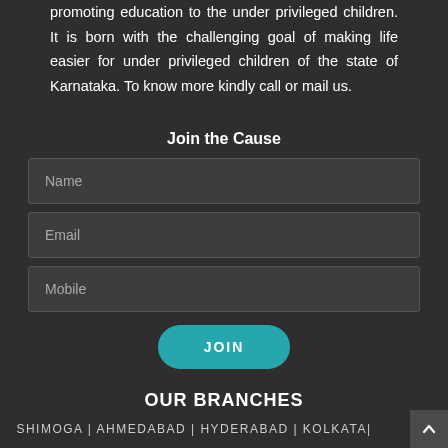promoting education to the under privileged children. It is born with the challenging goal of making life easier for under privileged children of the state of Karnataka. To know more kindly call or mail us.
Join the Cause
Name
Email
Mobile
JOIN
OUR BRANCHES
SHIMOGA | AHMEDABAD | HYDERABAD | KOLKATA|